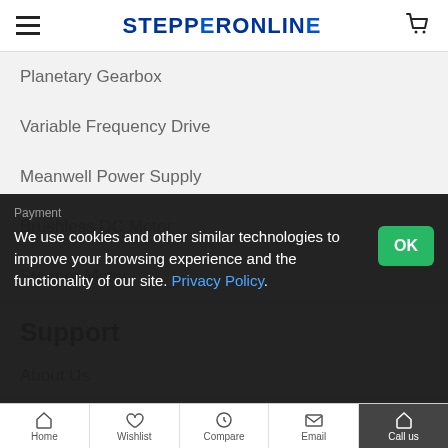STEPPERONLINE
Planetary Gearbox
Variable Frequency Drive
Meanwell Power Supply
Brushless DC Motor
Stepper Motor
Support
About Us
We use cookies and other similar technologies to improve your browsing experience and the functionality of our site. Privacy Policy.
Home  Wishlist  Compare  Email  Call us